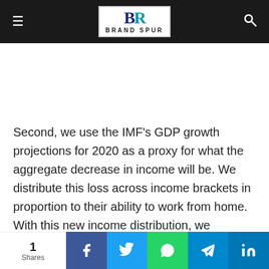Brand Spur - navigation header with logo
Second, we use the IMF's GDP growth projections for 2020 as a proxy for what the aggregate decrease in income will be. We distribute this loss across income brackets in proportion to their ability to work from home. With this new income distribution, we compute a post-COVID summary measure of income distribution (Gini coefficient) for 2020 for 106 countries and compute the percent change. The higher the
1 Shares | Facebook | Twitter | WhatsApp | Telegram | LinkedIn